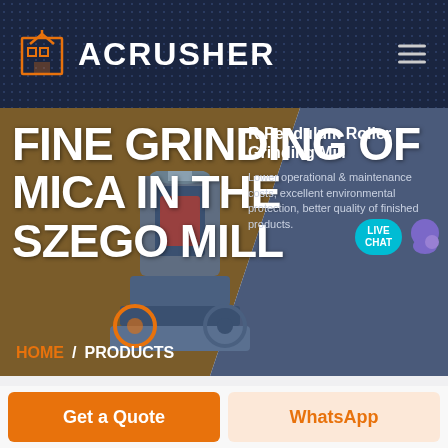ACRUSHER
FINE GRINDING OF MICA IN THE SZEGO MILL
[Figure (photo): Industrial grinding mill machine (Pendulum Roller Grinding Mill) rendered in 3D on a brownish-gray hero background]
R Pendulum Roller Grinding Mill
Lower operational & maintenance costs, excellent environmental protection, better quality of finished products.
HOME / PRODUCTS
Get a Quote
WhatsApp